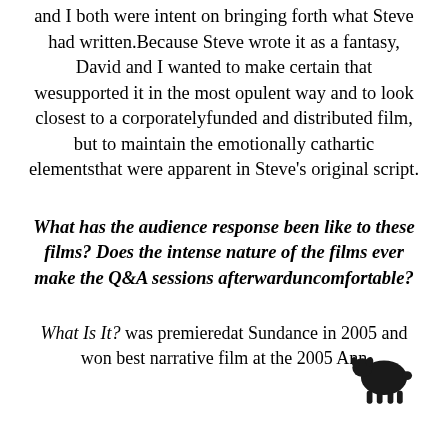and I both were intent on bringing forth what Steve had written.Because Steve wrote it as a fantasy, David and I wanted to make certain that wesupported it in the most opulent way and to look closest to a corporatelyfunded and distributed film, but to maintain the emotionally cathartic elementsthat were apparent in Steve's original script.
What has the audience response been like to these films? Does the intense nature of the films ever make the Q&A sessions afterwarduncomfortable?
What Is It? was premieredat Sundance in 2005 and won best narrative film at the 2005 Ann
[Figure (illustration): Small black silhouette of a sheep/lamb facing left, positioned in lower right area of page]